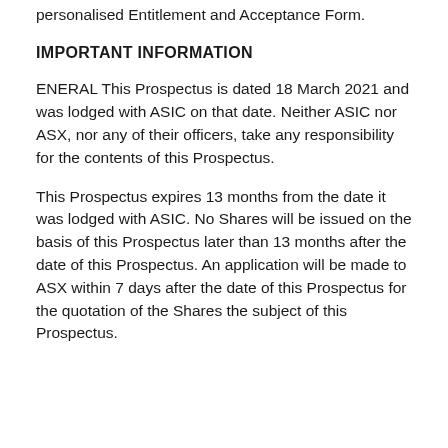personalised Entitlement and Acceptance Form.
IMPORTANT INFORMATION
ENERAL This Prospectus is dated 18 March 2021 and was lodged with ASIC on that date. Neither ASIC nor ASX, nor any of their officers, take any responsibility for the contents of this Prospectus.
This Prospectus expires 13 months from the date it was lodged with ASIC. No Shares will be issued on the basis of this Prospectus later than 13 months after the date of this Prospectus. An application will be made to ASX within 7 days after the date of this Prospectus for the quotation of the Shares the subject of this Prospectus.